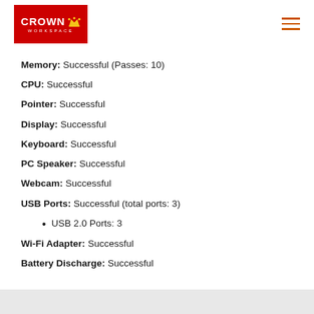Crown Workspace
Memory: Successful (Passes: 10)
CPU: Successful
Pointer: Successful
Display: Successful
Keyboard: Successful
PC Speaker: Successful
Webcam: Successful
USB Ports: Successful (total ports: 3)
USB 2.0 Ports: 3
Wi-Fi Adapter: Successful
Battery Discharge: Successful